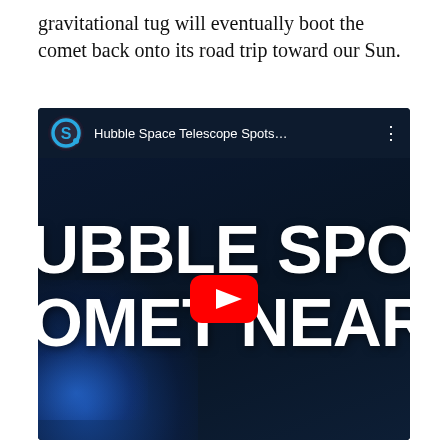gravitational tug will eventually boot the comet back onto its road trip toward our Sun.
[Figure (screenshot): YouTube video thumbnail/embed showing 'Hubble Space Telescope Spots...' with channel icon (letter S logo), video title, three-dot menu, and large overlaid text reading 'HUBBLE SPOT' and 'OMET NEAR JUPITE' on a dark blue space background with a blue glowing comet. A red YouTube play button is centered on the video.]